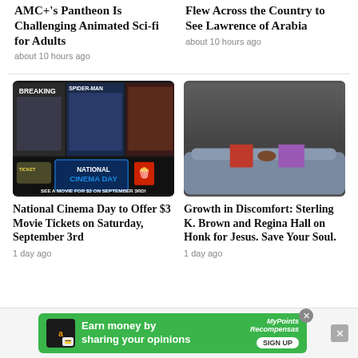AMC+'s Pantheon Is Challenging Animated Sci-fi for Adults
about 10 hours ago
Flew Across the Country to See Lawrence of Arabia
about 10 hours ago
[Figure (photo): National Cinema Day promotional image with movie posters for Breaking and Spider-Man, and text 'See a Movie for $3 on September 3rd']
National Cinema Day to Offer $3 Movie Tickets on Saturday, September 3rd
1 day ago
[Figure (photo): Photo of Sterling K. Brown and Regina Hall sitting on a couch]
Growth in Discomfort: Sterling K. Brown and Regina Hall on Honk for Jesus. Save Your Soul.
1 day ago
[Figure (infographic): Green advertisement banner: Earn money by sharing your opinions. Sign Up. MyPoints/Recompensas logo.]